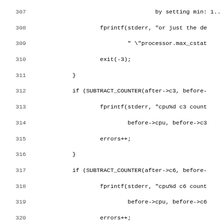[Figure (screenshot): Source code listing showing lines 307-339 of a C program with line numbers on the left. The code contains conditional checks using SUBTRACT_COUNTER macros for c3, c6, c7, pc2, pc3, and pc6 counters, with fprintf and errors++ statements. Lines are partially cut off on the right side.]